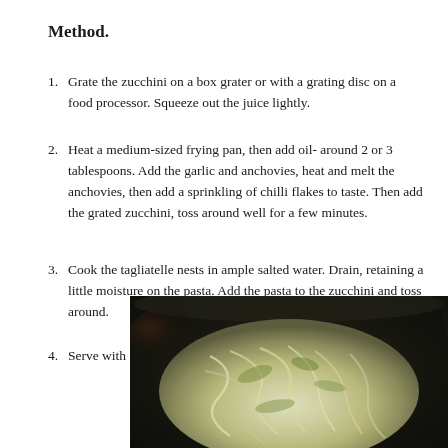Method.
Grate the zucchini on a box grater or with a grating disc on a food processor. Squeeze out the juice lightly.
Heat a medium-sized frying pan, then add oil- around 2 or 3 tablespoons. Add the garlic and anchovies, heat and melt the anchovies, then add a sprinkling of chilli flakes to taste. Then add the grated zucchini, toss around well for a few minutes.
Cook the tagliatelle nests in ample salted water. Drain, retaining a little moisture on the pasta. Add the pasta to the zucchini and toss around.
Serve with torn basil leaves and grated parmigiana.
[Figure (photo): A dark pan containing tagliatelle pasta with grated zucchini, tossed together, viewed from above at an angle. The dish shows pale yellow-green pasta strands mixed with green zucchini.]